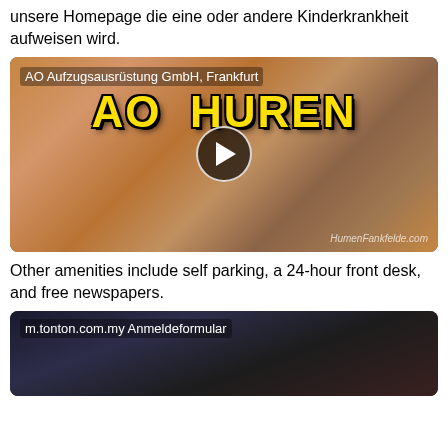unsere Homepage die eine oder andere Kinderkrankheit aufweisen wird.
[Figure (screenshot): Video thumbnail with label 'AO Aufzugsausrüstung GmbH, Frankfurt' and large yellow text 'AO HUREN' with play button overlay]
Other amenities include self parking, a 24-hour front desk, and free newspapers.
[Figure (screenshot): Video thumbnail with label 'm.tonton.com.my Anmeldeformular' showing a person in dark setting]